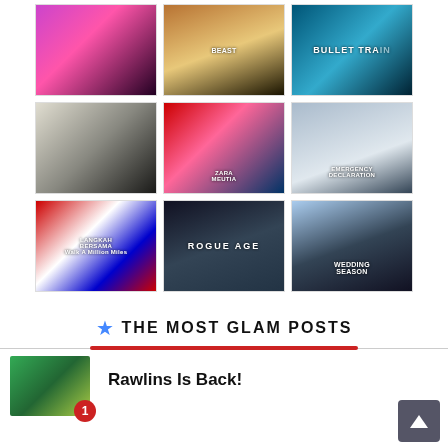[Figure (photo): 3x3 grid of movie/show poster thumbnails. Row 1: dancer in pink/purple light, Beast movie poster, Bullet Train movie poster (partial). Row 2: black-and-white couple embrace, woman crying with colorful makeup (Zara Meutia), Emergency Declaration poster. Row 3: Langkah Bersama colorful event poster, Rogue Agent TV series poster, Wedding Season poster.]
★ THE MOST GLAM POSTS
[Figure (photo): Thumbnail image of a group of people in green/yellow sports uniforms]
1  Rawlins Is Back!